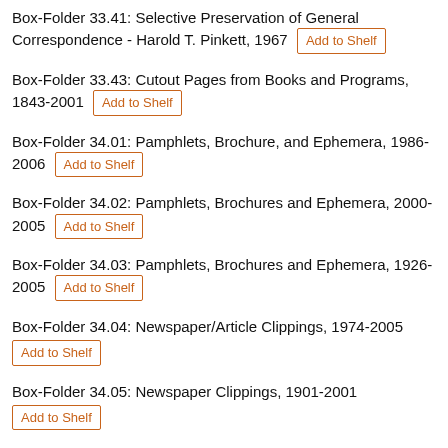Box-Folder 33.41: Selective Preservation of General Correspondence - Harold T. Pinkett, 1967 [Add to Shelf]
Box-Folder 33.43: Cutout Pages from Books and Programs, 1843-2001 [Add to Shelf]
Box-Folder 34.01: Pamphlets, Brochure, and Ephemera, 1986-2006 [Add to Shelf]
Box-Folder 34.02: Pamphlets, Brochures and Ephemera, 2000-2005 [Add to Shelf]
Box-Folder 34.03: Pamphlets, Brochures and Ephemera, 1926-2005 [Add to Shelf]
Box-Folder 34.04: Newspaper/Article Clippings, 1974-2005 [Add to Shelf]
Box-Folder 34.05: Newspaper Clippings, 1901-2001 [Add to Shelf]